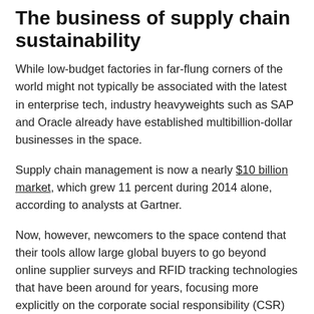The business of supply chain sustainability
While low-budget factories in far-flung corners of the world might not typically be associated with the latest in enterprise tech, industry heavyweights such as SAP and Oracle already have established multibillion-dollar businesses in the space.
Supply chain management is now a nearly $10 billion market, which grew 11 percent during 2014 alone, according to analysts at Gartner.
Now, however, newcomers to the space contend that their tools allow large global buyers to go beyond online supplier surveys and RFID tracking technologies that have been around for years, focusing more explicitly on the corporate social responsibility (CSR) aspects of managing a supply chain.